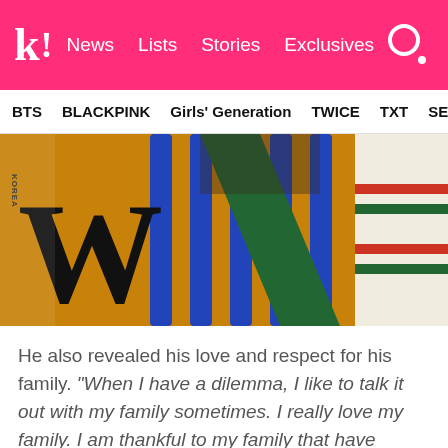k! News  Lists  Stories  Exclusives
BTS  BLACKPINK  Girls' Generation  TWICE  TXT  SEVE
[Figure (photo): Magazine cover (W Korea) showing colorful fashion with blue bamboo bars, orange fabric, green scarf, and striped knit. Large 'W' letter logo visible on left side.]
He also revealed his love and respect for his family. “When I have a dilemma, I like to talk it out with my family sometimes. I really love my family. I am thankful to my family that have helped me in becoming the person I am today. I also recently talked a lot with my sisters. I really